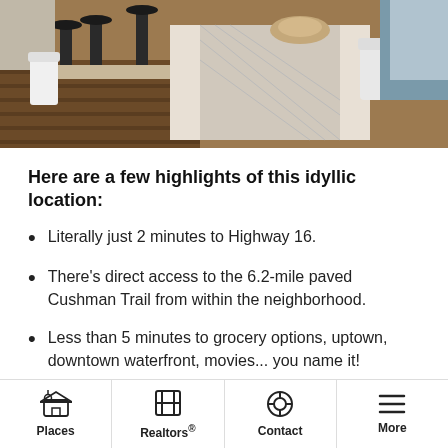[Figure (photo): Interior photo of a dining/kitchen area with bar stools, a white table with a patterned runner, hardwood floors, and white chairs.]
Here are a few highlights of this idyllic location:
Literally just 2 minutes to Highway 16.
There's direct access to the 6.2-mile paved Cushman Trail from within the neighborhood.
Less than 5 minutes to grocery options, uptown, downtown waterfront, movies... you name it!
Places  Realtors®  Contact  More